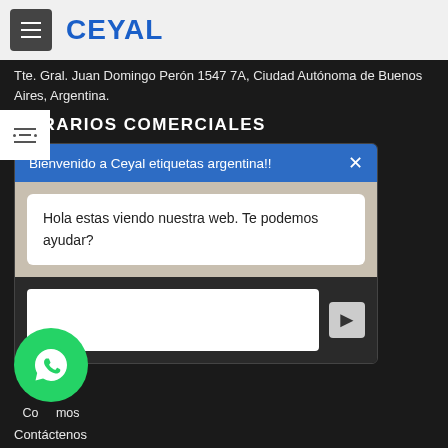CEYAL
Tte. Gral. Juan Domingo Perón 1547 7A, Ciudad Autónoma de Buenos Aires, Argentina.
HORARIOS COMERCIALES
[Figure (screenshot): Chat widget with header 'Bienvenido a Ceyal etiquetas argentina!!' and message 'Hola estas viendo nuestra web. Te podemos ayudar?']
[Figure (logo): WhatsApp green circular button with phone icon]
Contáctenos
Contáctenos